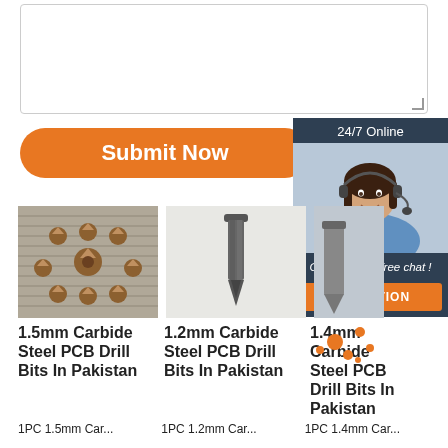[Figure (screenshot): Textarea input box with resize handle]
[Figure (illustration): Orange 'Submit Now' button with rounded corners]
[Figure (illustration): 24/7 Online chat widget showing a woman with headset, 'Click here for free chat!' text, and orange QUOTATION button]
[Figure (photo): 1.5mm Carbide Steel PCB Drill Bits - multiple small copper-colored drill bits arranged in a circle on grey surface]
[Figure (photo): 1.2mm Carbide Steel PCB Drill Bits - single dark grey drill bit on white background]
[Figure (photo): 1.4mm Carbide Steel PCB Drill Bits - partially visible product image]
1.5mm Carbide Steel PCB Drill Bits In Pakistan
1.2mm Carbide Steel PCB Drill Bits In Pakistan
1.4mm Carbide Steel PCB Drill Bits In Pakistan
1PC 1.5mm Car...
1PC 1.2mm Car...
1PC 1.4mm Car...